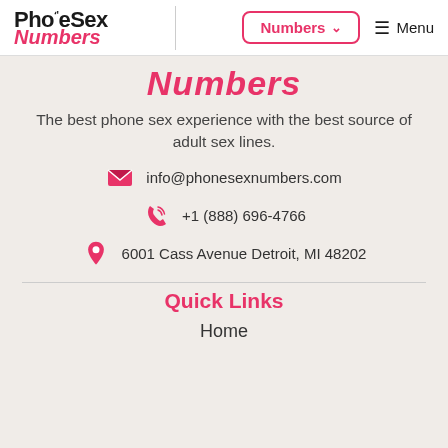PholeSex Numbers | Numbers ∨ ≡ Menu
Numbers
The best phone sex experience with the best source of adult sex lines.
info@phonesexnumbers.com
+1 (888) 696-4766
6001 Cass Avenue Detroit, MI 48202
Quick Links
Home